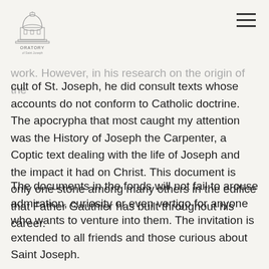Saint Joseph's Oratory — navigation header with logo and hamburger menu
work. However, in his research on the origin of the cult of St. Joseph, he did consult texts whose accounts do not conform to Catholic doctrine. The apocrypha that most caught my attention was the History of Joseph the Carpenter, a Coptic text dealing with the life of Joseph and the impact it had on Christ. This document is only one stone among many others in the edifice that Father Gauthier has built throughout his career.
The documents in the fonds will not fail to arouse admiration, curiosity or even vertigo for anyone who wants to venture into them. The invitation is extended to all friends and those curious about Saint Joseph.